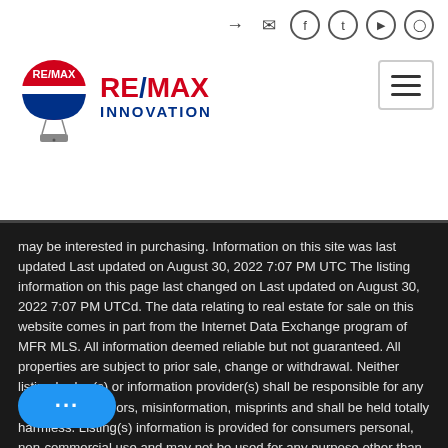[Figure (logo): RE/MAX Innovation logo with balloon icon and brand name]
may be interested in purchasing. Information on this site was last updated Last updated on August 30, 2022 7:07 PM UTC The listing information on this page last changed on Last updated on August 30, 2022 7:07 PM UTCd. The data relating to real estate for sale on this website comes in part from the Internet Data Exchange program of MFR MLS. All information deemed reliable but not guaranteed. All properties are subject to prior sale, change or withdrawal. Neither listing broker(s) or information provider(s) shall be responsible for any typographical errors, misinformation, misprints and shall be held totally harmless. Listing(s) information is provided for consumers personal, non-commercial use and may not be used for any purpose other than to identify prospective properties consumers may be interested in